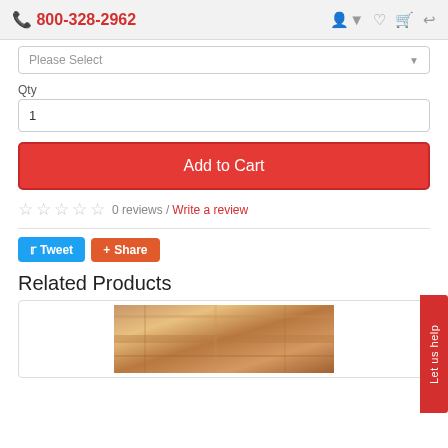📞 800-328-2962
Please Select
Qty
1
Add to Cart
0 reviews / Write a review
Tweet  Share
Related Products
[Figure (photo): Product photo showing wooden surface/furniture piece]